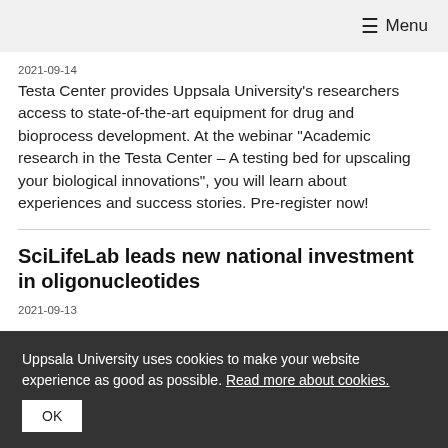≡ Menu
2021-09-14
Testa Center provides Uppsala University's researchers access to state-of-the-art equipment for drug and bioprocess development. At the webinar "Academic research in the Testa Center – A testing bed for upscaling your biological innovations", you will learn about experiences and success stories. Pre-register now!
SciLifeLab leads new national investment in oligonucleotides
2021-09-13
Uppsala University uses cookies to make your website experience as good as possible. Read more about cookies.